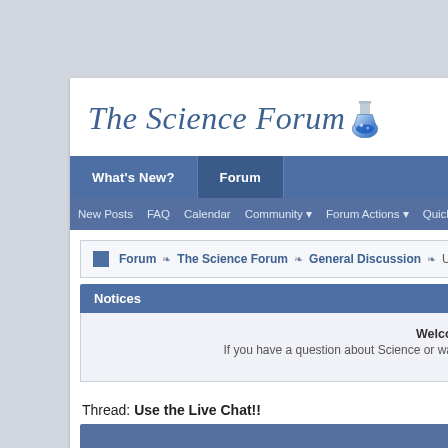The Science Forum
What's New?  Forum  | New Posts  FAQ  Calendar  Community  Forum Actions  Quick Links
Forum → The Science Forum → General Discussion → Use th...
Notices
Welco... If you have a question about Science or wa...
Thread: Use the Live Chat!!